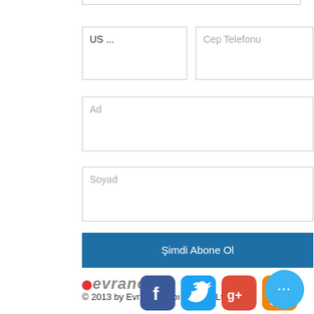[Figure (screenshot): Form input field at top (partially visible, trimmed)]
[Figure (screenshot): Two input fields side by side: 'US ...' (filled) and 'Cep Telefonu' (placeholder)]
[Figure (screenshot): Input field with placeholder 'Ad']
[Figure (screenshot): Input field with placeholder 'Soyad']
[Figure (screenshot): Blue button labeled 'Şimdi Abone Ol']
[Figure (logo): Evranos logo with red dot and gray italic text]
© 2013 by Evranos Yapı San Tic Ltd Sti.
[Figure (infographic): Social media icons: Facebook, Twitter, Google+, RSS, and a blue chat bubble with ellipsis]